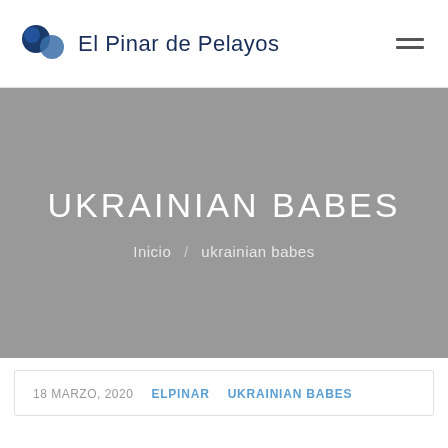El Pinar de Pelayos
UKRAINIAN BABES
Inicio / ukrainian babes
18 MARZO, 2020   ELPINAR   UKRAINIAN BABES